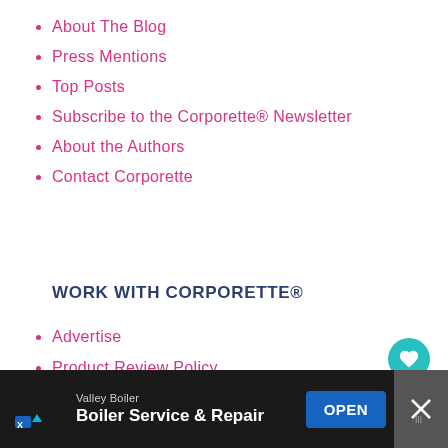About The Blog
Press Mentions
Top Posts
Subscribe to the Corporette® Newsletter
About the Authors
Contact Corporette
WORK WITH CORPORETTE®
Advertise
Product Review Policy
[Figure (other): Circular teal heart/favorite button]
[Figure (other): Advertisement banner: Valley Boiler - Boiler Service & Repair with OPEN button and close X button]